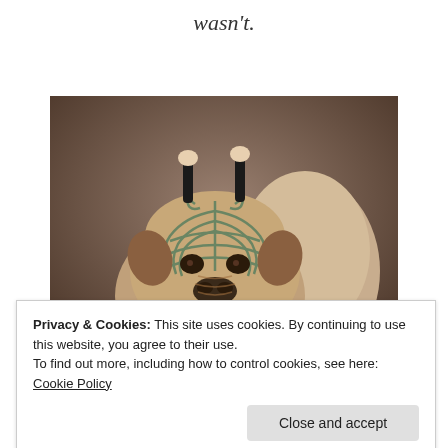wasn't.
[Figure (photo): A bulldog with tribal tattoo-like markings on its face and two small human-looking legs/arms sticking up from its head, painted in a vintage portrait style.]
Privacy & Cookies: This site uses cookies. By continuing to use this website, you agree to their use.
To find out more, including how to control cookies, see here: Cookie Policy
Close and accept